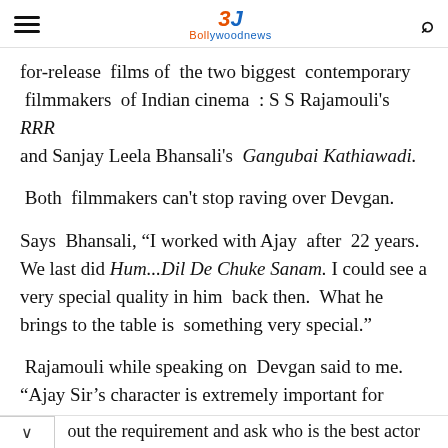Bollywood News
for-release films of the two biggest contemporary filmmakers of Indian cinema : S S Rajamouli's RRR and Sanjay Leela Bhansali's Gangubai Kathiawadi.
Both filmmakers can't stop raving over Devgan.
Says Bhansali, “I worked with Ajay after 22 years. We last did Hum...Dil De Chuke Sanam. I could see a very special quality in him back then. What he brings to the table is something very special.”
Rajamouli while speaking on Devgan said to me. “Ajay Sir’s character is extremely important for RRR. I needed an actor whose face and every word he uttered oozes honesty and integrity. I needed an actor the whole country would believe in what he says or does. I think if
out the requirement and ask who is the best actor